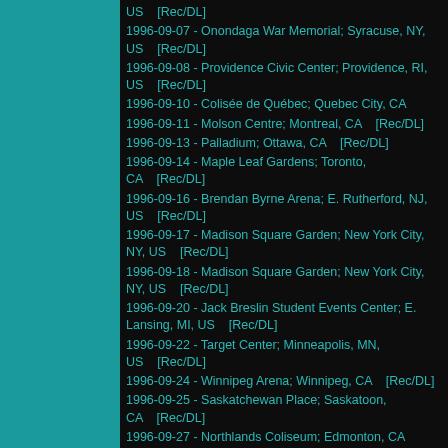US    [Rec/DL]
1996-09-07 - Onondaga War Memorial; Syracuse, NY, US    [Rec/DL]
1996-09-08 - Providence Civic Center; Providence, RI, US    [Rec/DL]
1996-09-10 - Colisée de Québec; Quebec City, CA
1996-09-11 - Molson Centre; Montreal, CA    [Rec/DL]
1996-09-13 - Palladium; Ottawa, CA    [Rec/DL]
1996-09-14 - Maple Leaf Gardens; Toronto, CA    [Rec/DL]
1996-09-16 - Brendan Byrne Arena; E. Rutherford, NJ, US    [Rec/DL]
1996-09-17 - Madison Square Garden; New York City, NY, US    [Rec/DL]
1996-09-18 - Madison Square Garden; New York City, NY, US    [Rec/DL]
1996-09-20 - Jack Breslin Student Events Center; E. Lansing, MI, US    [Rec/DL]
1996-09-22 - Target Center; Minneapolis, MN, US    [Rec/DL]
1996-09-24 - Winnipeg Arena; Winnipeg, CA    [Rec/DL]
1996-09-25 - Saskatchewan Place; Saskatoon, CA    [Rec/DL]
1996-09-27 - Northlands Coliseum; Edmonton, CA
1996-09-28 - Saddledome; Calgary, CA